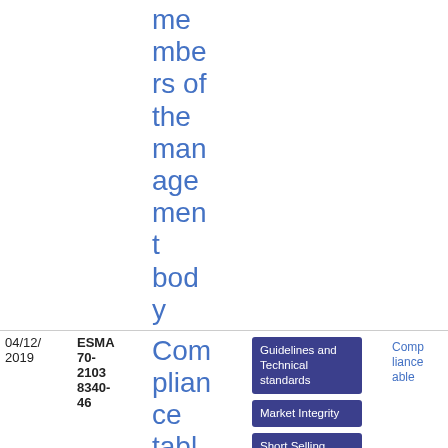| Date | Reference | Title | Tags | Type | Info |
| --- | --- | --- | --- | --- | --- |
|  |  | members of the management body |  |  |  |
| 04/12/2019 | ESMA 70-2103 8340-46 | Compliance table for the Guidelines on market maki… | Guidelines and Technical standards | Market Integrity | Short Selling | Compliance table | PDF | 26
7.48 KB |